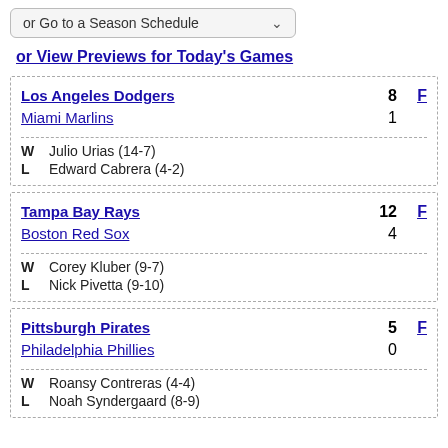or Go to a Season Schedule
or View Previews for Today's Games
| Team | Score | Final |
| --- | --- | --- |
| Los Angeles Dodgers | 8 | F |
| Miami Marlins | 1 |  |
| W | Julio Urias (14-7) |  |
| L | Edward Cabrera (4-2) |  |
| Team | Score | Final |
| --- | --- | --- |
| Tampa Bay Rays | 12 | F |
| Boston Red Sox | 4 |  |
| W | Corey Kluber (9-7) |  |
| L | Nick Pivetta (9-10) |  |
| Team | Score | Final |
| --- | --- | --- |
| Pittsburgh Pirates | 5 | F |
| Philadelphia Phillies | 0 |  |
| W | Roansy Contreras (4-4) |  |
| L | Noah Syndergaard (8-9) |  |